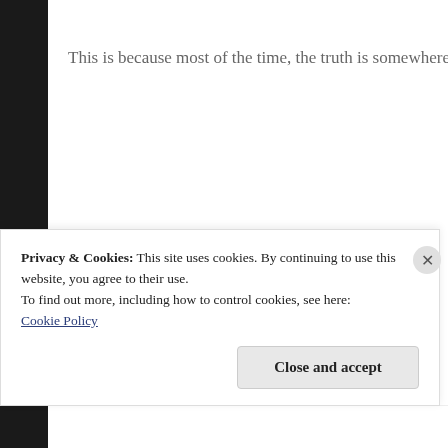This is because most of the time, the truth is somewhere in the
[Figure (illustration): Brown 'Keep Calm' style poster with a teapot icon at the top and text reading: I Cannot Keep CALM, I haven't had my Second Cup]
Privacy & Cookies: This site uses cookies. By continuing to use this website, you agree to their use.
To find out more, including how to control cookies, see here:
Cookie Policy
Close and accept